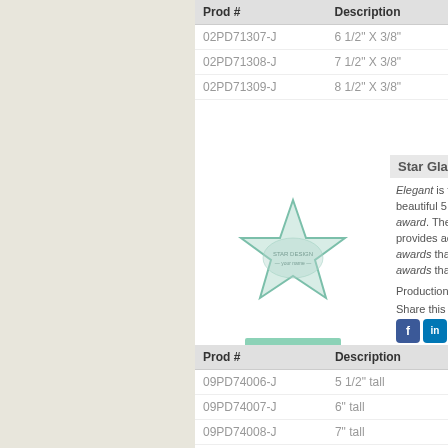| Prod # | Description |
| --- | --- |
| 02PD71307-J | 6 1/2" X 3/8" |
| 02PD71308-J | 7 1/2" X 3/8" |
| 02PD71309-J | 8 1/2" X 3/8" |
[Figure (photo): Star Glass Jade award trophy - a 5-pointed glass star on a jade colored base/stand]
Star Glass Jade
Elegant is the only word for describing these beautiful 5 point stars that reflect light off of this award. The Jade colored base. The star provides accommodate all needs. Flexibility awards that co 1/2" X 5 1/2", 6" presentation be awards that any receive. Jade G
Production lea
Share this Awa
| Prod # | Description |
| --- | --- |
| 09PD74006-J | 5 1/2" tall |
| 09PD74007-J | 6" tall |
| 09PD74008-J | 7" tall |